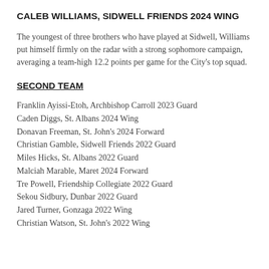CALEB WILLIAMS, SIDWELL FRIENDS 2024 WING
The youngest of three brothers who have played at Sidwell, Williams put himself firmly on the radar with a strong sophomore campaign, averaging a team-high 12.2 points per game for the City’s top squad.
SECOND TEAM
Franklin Ayissi-Etoh, Archbishop Carroll 2023 Guard
Caden Diggs, St. Albans 2024 Wing
Donavan Freeman, St. John’s 2024 Forward
Christian Gamble, Sidwell Friends 2022 Guard
Miles Hicks, St. Albans 2022 Guard
Malciah Marable, Maret 2024 Forward
Tre Powell, Friendship Collegiate 2022 Guard
Sekou Sidbury, Dunbar 2022 Guard
Jared Turner, Gonzaga 2022 Wing
Christian Watson, St. John’s 2022 Wing